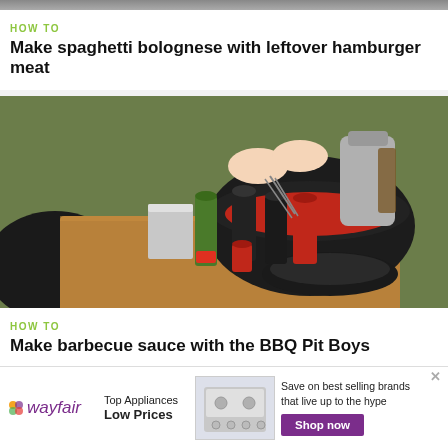[Figure (photo): Top strip of a food/cooking photo (partially visible)]
HOW TO
Make spaghetti bolognese with leftover hamburger meat
[Figure (photo): Photo of hands stirring red sauce in a cast iron pot on a wooden table outdoors, surrounded by spice containers and bottles]
HOW TO
Make barbecue sauce with the BBQ Pit Boys
[Figure (photo): Partially visible photo at the bottom of the page]
[Figure (other): Wayfair advertisement banner: Top Appliances Low Prices, Save on best selling brands that live up to the hype, Shop now button]